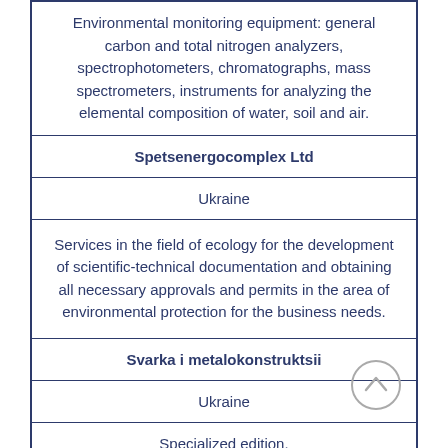| Environmental monitoring equipment: general carbon and total nitrogen analyzers, spectrophotometers, chromatographs, mass spectrometers, instruments for analyzing the elemental composition of water, soil and air. |
| Spetsenergocomplex Ltd |
| Ukraine |
| Services in the field of ecology for the development of scientific-technical documentation and obtaining all necessary approvals and permits in the area of environmental protection for the business needs. |
| Svarka i metalokonstruktsii |
| Ukraine |
| Specialized edition. |